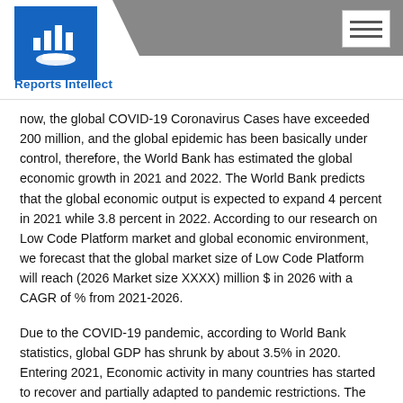Reports Intellect
now, the global COVID-19 Coronavirus Cases have exceeded 200 million, and the global epidemic has been basically under control, therefore, the World Bank has estimated the global economic growth in 2021 and 2022. The World Bank predicts that the global economic output is expected to expand 4 percent in 2021 while 3.8 percent in 2022. According to our research on Low Code Platform market and global economic environment, we forecast that the global market size of Low Code Platform will reach (2026 Market size XXXX) million $ in 2026 with a CAGR of % from 2021-2026.
Due to the COVID-19 pandemic, according to World Bank statistics, global GDP has shrunk by about 3.5% in 2020. Entering 2021, Economic activity in many countries has started to recover and partially adapted to pandemic restrictions. The research and development of vaccines has made breakthrough progress, and many governments have